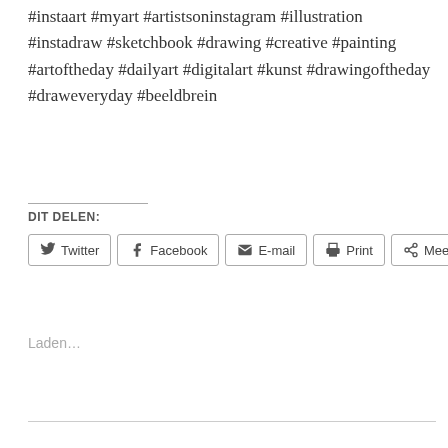#instaart #myart #artistsoninstagram #illustration #instadraw #sketchbook #drawing #creative #painting #artoftheday #dailyart #digitalart #kunst #drawingoftheday #draweveryday #beeldbrein
DIT DELEN:
Twitter  Facebook  E-mail  Print  Meer
Laden…